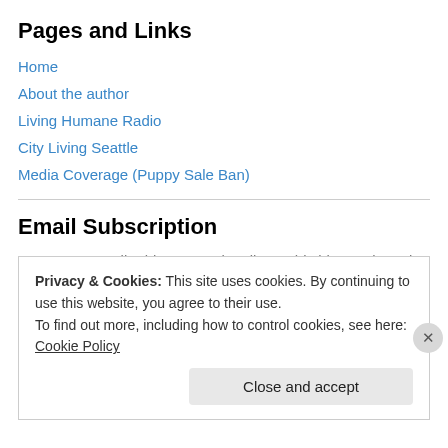Pages and Links
Home
About the author
Living Humane Radio
City Living Seattle
Media Coverage (Puppy Sale Ban)
Email Subscription
Enter your email address to subscribe to this blog and receive notifications of new posts by email.
Privacy & Cookies: This site uses cookies. By continuing to use this website, you agree to their use.
To find out more, including how to control cookies, see here: Cookie Policy
Close and accept